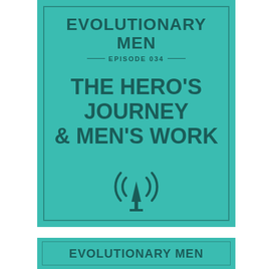[Figure (illustration): Podcast cover art for 'Evolutionary Men' Episode 034 on teal/turquoise background with dark teal text and border. Shows show title, episode number, episode title 'The Hero's Journey & Men's Work', and a broadcast/podcast tower icon.]
EVOLUTIONARY MEN
EPISODE 034
THE HERO'S JOURNEY & MEN'S WORK
[Figure (illustration): Partial second card showing 'EVOLUTIONARY MEN' text at bottom of page.]
EVOLUTIONARY MEN